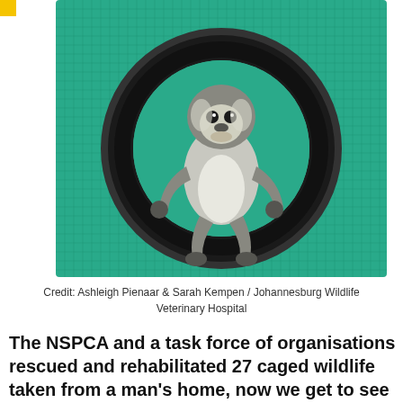[Figure (photo): A vervet monkey sitting inside a large black rubber tire, against a green mesh wire cage background. The monkey is looking at the camera.]
Credit: Ashleigh Pienaar & Sarah Kempen / Johannesburg Wildlife Veterinary Hospital
The NSPCA and a task force of organisations rescued and rehabilitated 27 caged wildlife taken from a man's home, now we get to see how some of them are doing.